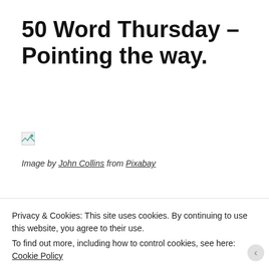50 Word Thursday – Pointing the way.
[Figure (photo): Broken image placeholder icon (small, top-left area)]
Image by John Collins from Pixabay
The treasure hunt had started and hidden among the
Privacy & Cookies: This site uses cookies. By continuing to use this website, you agree to their use.
To find out more, including how to control cookies, see here: Cookie Policy
Close and accept